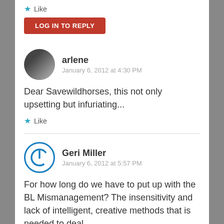Like
LOG IN TO REPLY
arlene
January 6, 2012 at 4:30 PM
Dear Savewildhorses, this not only upsetting but infuriating...
Like
Geri Miller
January 6, 2012 at 5:57 PM
For how long do we have to put up with the BL Mismanagement? The insensitivity and lack of intelligent, creative methods that is needed to deal